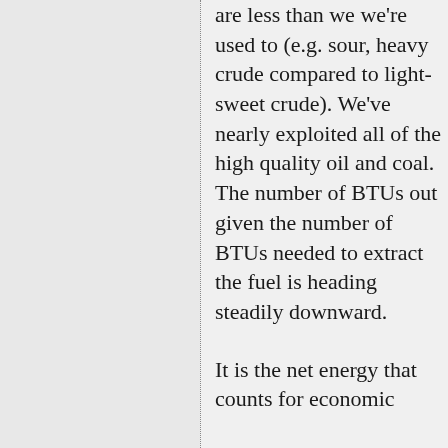are less than we we're used to (e.g. sour, heavy crude compared to light-sweet crude). We've nearly exploited all of the high quality oil and coal. The number of BTUs out given the number of BTUs needed to extract the fuel is heading steadily downward.

It is the net energy that counts for economic